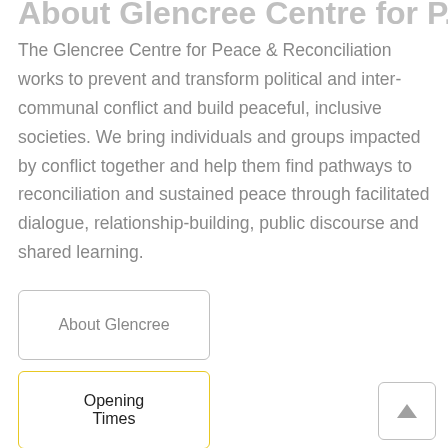About Glencree Centre for Peace & Reconciliation
The Glencree Centre for Peace & Reconciliation works to prevent and transform political and inter-communal conflict and build peaceful, inclusive societies. We bring individuals and groups impacted by conflict together and help them find pathways to reconciliation and sustained peace through facilitated dialogue, relationship-building, public discourse and shared learning.
About Glencree
Opening Times